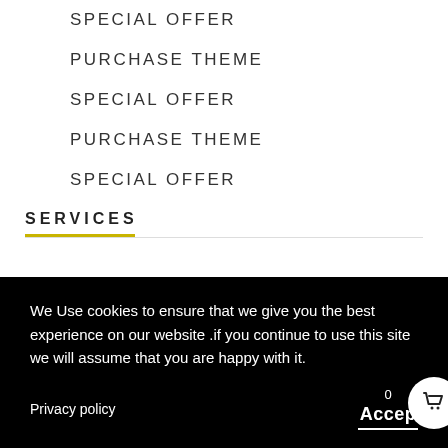SPECIAL OFFER
PURCHASE THEME
SPECIAL OFFER
PURCHASE THEME
SPECIAL OFFER
SERVICES
We Use cookies to ensure that we give you the best experience on our website .if you continue to use this site we will assume that you are happy with it.
Privacy policy
Accept